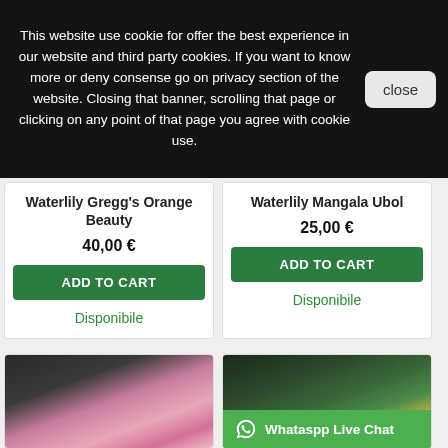This website use cookie for offer the best experience in our website and third party cookies. If you want to know more or deny consense go on privacy section of the website. Closing that banner, scrolling that page or clicking on any point of that page you agree with cookie use.
close
Waterlily Gregg's Orange Beauty
40,00 €
ADD TO CART
Disponibile
Waterlily Mangala Ubol
25,00 €
ADD TO CART
Disponibile
[Figure (photo): Pink waterlily flower photograph]
[Figure (photo): Green lily pads with a waterlily flower photograph]
Whataspp Live Chat